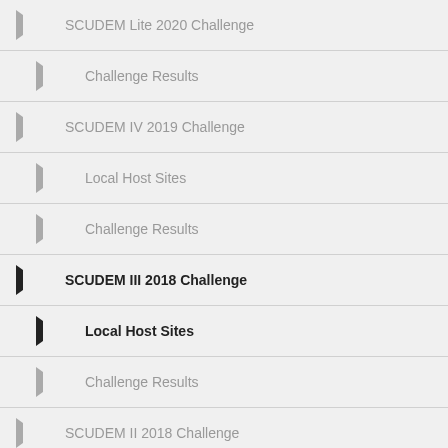SCUDEM Lite 2020 Challenge
Challenge Results
SCUDEM IV 2019 Challenge
Local Host Sites
Challenge Results
SCUDEM III 2018 Challenge
Local Host Sites
Challenge Results
SCUDEM II 2018 Challenge
Local Host Sites
Challenge Results